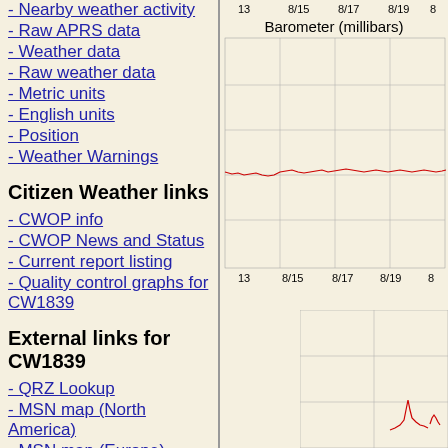- Nearby weather activity
- Raw APRS data
- Weather data
- Raw weather data
- Metric units
- English units
- Position
- Weather Warnings
Citizen Weather links
- CWOP info
- CWOP News and Status
- Current report listing
- Quality control graphs for CW1839
External links for CW1839
- QRZ Lookup
- MSN map (North America)
- MSN map (Europe)
[Figure (continuous-plot): Barometer (millibars) time series chart showing a relatively flat red line slightly below the midpoint, with date axis labels 13, 8/15, 8/17, 8/19, 8 at bottom and top]
[Figure (continuous-plot): Partial lower chart beginning to show at bottom right of page, appears to be another weather metric time series with a red spike visible]